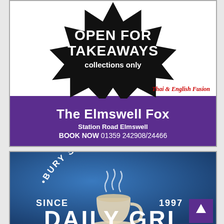[Figure (illustration): Advertisement for The Elmswell Fox restaurant. Top white section with black starburst shape containing text 'OPEN FOR TAKEAWAYS collections only' in white. Red italic text 'Thai & English Fusion' in bottom right of white area. Purple banner below with white text: 'The Elmswell Fox', 'Station Road Elmswell', 'BOOK NOW 01359 242908/24466'.]
[Figure (photo): Advertisement showing a blue/dark teal background with white text '·BURY ST. EDMUNDS·' in curved arc at top, 'SINCE' on left, a coffee cup illustration in centre, '1997' on right, and partial text 'DAILY GRI...' at bottom (cut off). A purple scroll-up button is overlaid in bottom right corner.]